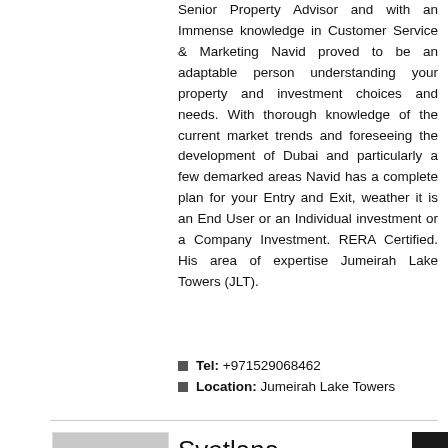Senior Property Advisor and with an Immense knowledge in Customer Service & Marketing Navid proved to be an adaptable person understanding your property and investment choices and needs. With thorough knowledge of the current market trends and foreseeing the development of Dubai and particularly a few demarked areas Navid has a complete plan for your Entry and Exit, weather it is an End User or an Individual investment or a Company Investment. RERA Certified. His area of expertise Jumeirah Lake Towers (JLT).
Tel: +971529068462
Location: Jumeirah Lake Towers
[Figure (photo): Black and white photo of Svetlana Bogashkova]
Svetlana Bogashkova